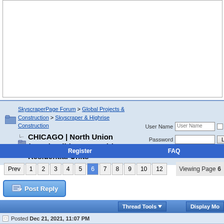[Figure (screenshot): White content area box at top of forum page]
SkyscraperPage Forum > Global Projects & Construction > Skyscraper & Highrise Construction
CHICAGO | North Union (Moody Bible Campus) | 2,680 Residential Units
User Name [input] Remember | Password [input] Log in
Register   FAQ
Prev 1 2 3 4 5 6 7 8 9 10 12   Viewing Page 6
Post Reply
Thread Tools   Display Mo
Posted Dec 21, 2021, 11:07 PM